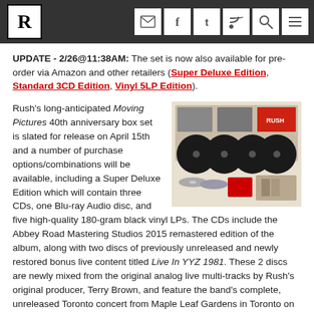R [logo] | email | facebook | twitter | RSS | search | menu
UPDATE - 2/26@11:38AM: The set is now also available for pre-order via Amazon and other retailers (Super Deluxe Edition, Standard 3CD Edition, Vinyl 5LP Edition).
[Figure (photo): Rush Moving Pictures 40th anniversary box set product photo showing vinyl records, CDs, and box set contents on a light background]
Rush's long-anticipated Moving Pictures 40th anniversary box set is slated for release on April 15th and a number of purchase options/combinations will be available, including a Super Deluxe Edition which will contain three CDs, one Blu-ray Audio disc, and five high-quality 180-gram black vinyl LPs. The CDs include the Abbey Road Mastering Studios 2015 remastered edition of the album, along with two discs of previously unreleased and newly restored bonus live content titled Live In YYZ 1981. These 2 discs are newly mixed from the original analog live multi-tracks by Rush's original producer, Terry Brown, and feature the band's complete, unreleased Toronto concert from Maple Leaf Gardens in Toronto on March 25, 1981. The Blu-ray Audio disc includes the core album remastered from the original multi-tracks...